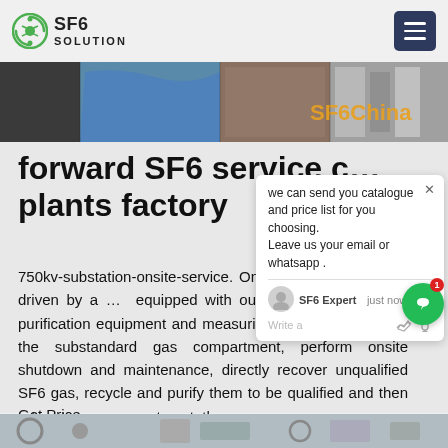SF6 SOLUTION
[Figure (photo): Hero banner showing SF6 equipment and industrial plant images with 'SF6China' text overlay]
forward SF6 service c... plants factory
750kv-substation-onsite-service. On... recovery service is driven by a ... equipped with our full set of recover... purification equipment and measuring instrument, drive to the substandard gas compartment, perform onsite shutdown and maintenance, directly recover unqualified SF6 gas, recycle and purify them to be qualified and then return to gas compartment, the
Get Price
[Figure (screenshot): Chat popup showing message: we can send you catalogue and price list for you choosing. Leave us your email or whatsapp. SF6 Expert - just now - Write a message area with like and attachment icons.]
[Figure (photo): Bottom strip showing industrial/engineering equipment images]